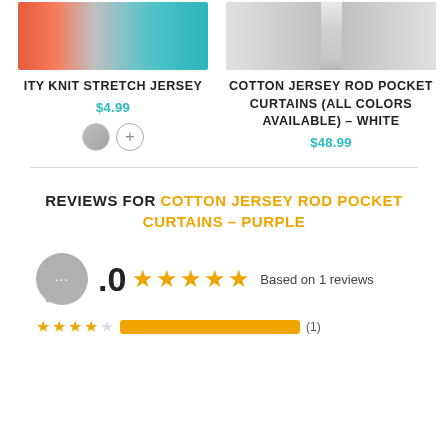[Figure (photo): Product image showing colorful fabric swatches in red, orange, teal colors.]
ITY KNIT STRETCH JERSEY
$4.99
[Figure (photo): Product image showing white curtains hanging from a rod.]
COTTON JERSEY ROD POCKET CURTAINS (ALL COLORS AVAILABLE) – WHITE
$48.99
REVIEWS FOR COTTON JERSEY ROD POCKET CURTAINS – PURPLE
.0  ★★★★★  Based on 1 reviews
★★★★☆  (1)